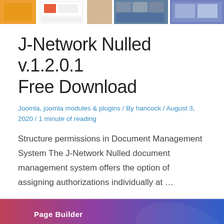[Figure (screenshot): Partial strip of website screenshot thumbnails showing J-Network plugin preview images at the top of the page]
J-Network Nulled v.1.2.0.1 Free Download
Joomla, joomla modules & plugins / By hancock / August 3, 2020 / 1 minute of reading
Structure permissions in Document Management System The J-Network Nulled document management system offers the option of assigning authorizations individually at …
[Figure (screenshot): Gridbox Page Builder promotional banner with gradient pink-to-blue background, white 'Page Builder' label text, large white 'Gridbox' title, and partial UI screenshot at bottom]